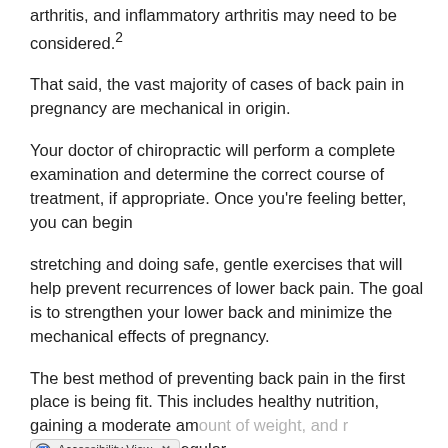arthritis, and inflammatory arthritis may need to be considered.2
That said, the vast majority of cases of back pain in pregnancy are mechanical in origin.
Your doctor of chiropractic will perform a complete examination and determine the correct course of treatment, if appropriate. Once you're feeling better, you can begin
stretching and doing safe, gentle exercises that will help prevent recurrences of lower back pain. The goal is to strengthen your lower back and minimize the mechanical effects of pregnancy.
The best method of preventing back pain in the first place is being fit. This includes healthy nutrition, gaining a moderate amount of weight, and regular